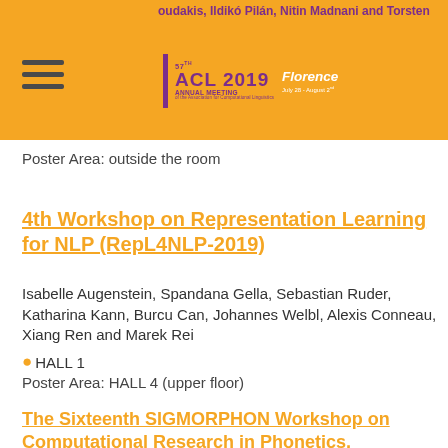oudakis, Ildikó Pilán, Nitin Madnani and Torsten | ACL 2019 Florence
Poster Area: outside the room
4th Workshop on Representation Learning for NLP (RepL4NLP-2019)
Isabelle Augenstein, Spandana Gella, Sebastian Ruder, Katharina Kann, Burcu Can, Johannes Welbl, Alexis Conneau, Xiang Ren and Marek Rei
HALL 1
Poster Area: HALL 4 (upper floor)
The Sixteenth SIGMORPHON Workshop on Computational Research in Phonetics, Phonology, and Morphology
Garrett Nicolai and Ryan Cotterell